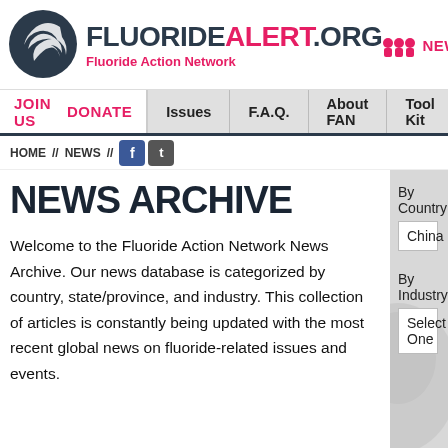FLUORIDEALERT.ORG — Fluoride Action Network | NEW VISITOR
JOIN US | DONATE | Issues | F.A.Q. | About FAN | Tool Kit
HOME // NEWS //
NEWS ARCHIVE
Welcome to the Fluoride Action Network News Archive. Our news database is categorized by country, state/province, and industry. This collection of articles is constantly being updated with the most recent global news on fluoride-related issues and events.
By Country:
China
By Industry:
Select One